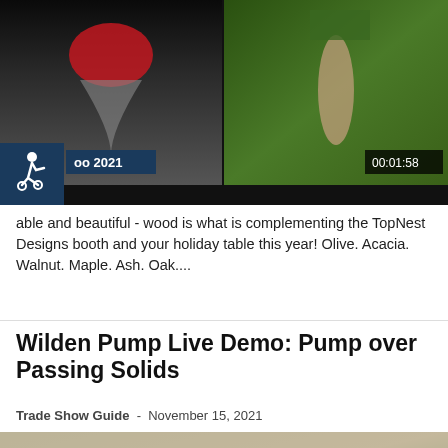[Figure (screenshot): Top banner with two photos: left shows a wine glass on dark background, right shows a hand holding a wine glass outdoors in greenery. Accessibility icon, badge 'oo 2021', and timestamp '00:01:58' overlaid.]
able and beautiful - wood is what is complementing the TopNest Designs booth and your holiday table this year! Olive. Acacia. Walnut. Maple. Ash. Oak....
Wilden Pump Live Demo: Pump over Passing Solids
Trade Show Guide  -  November 15, 2021
[Figure (screenshot): Video thumbnail showing Wilden and Rodney Strong Vineyards signage with play button overlay. Landscape with hills in background.]